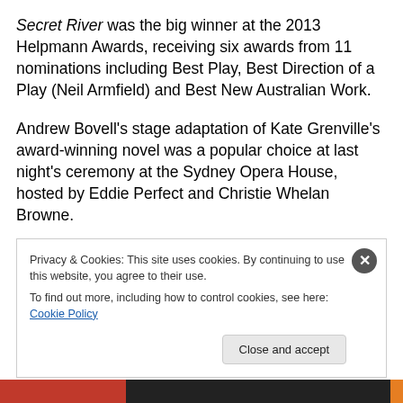Secret River was the big winner at the 2013 Helpmann Awards, receiving six awards from 11 nominations including Best Play, Best Direction of a Play (Neil Armfield) and Best New Australian Work.
Andrew Bovell's stage adaptation of Kate Grenville's award-winning novel was a popular choice at last night's ceremony at the Sydney Opera House, hosted by Eddie Perfect and Christie Whelan Browne.
However, the musical category has caused a fair amount of discussion on social media, with some believing that
Privacy & Cookies: This site uses cookies. By continuing to use this website, you agree to their use.
To find out more, including how to control cookies, see here: Cookie Policy